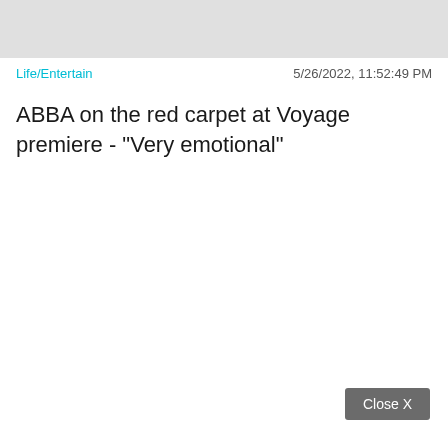[Figure (photo): Gray banner image placeholder at top of article]
Life/Entertain	5/26/2022, 11:52:49 PM
ABBA on the red carpet at Voyage premiere - "Very emotional"
Close X